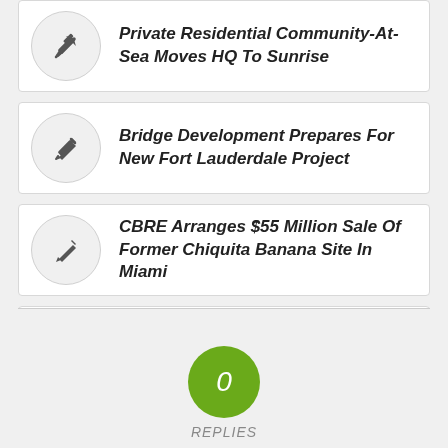Private Residential Community-At-Sea Moves HQ To Sunrise
Bridge Development Prepares For New Fort Lauderdale Project
CBRE Arranges $55 Million Sale Of Former Chiquita Banana Site In Miami
Veteran Leasing Duo Join CBRE
0
REPLIES